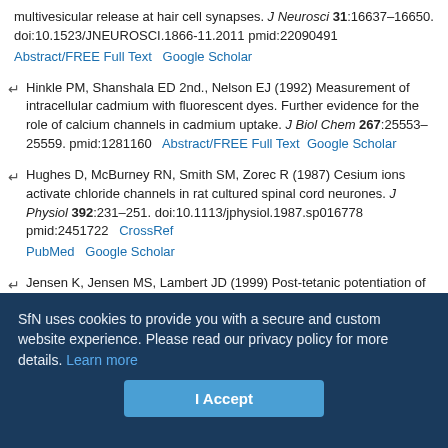multivesicular release at hair cell synapses. J Neurosci 31:16637–16650. doi:10.1523/JNEUROSCI.1866-11.2011 pmid:22090491 Abstract/FREE Full Text  Google Scholar
Hinkle PM, Shanshala ED 2nd., Nelson EJ (1992) Measurement of intracellular cadmium with fluorescent dyes. Further evidence for the role of calcium channels in cadmium uptake. J Biol Chem 267:25553–25559. pmid:1281160  Abstract/FREE Full Text  Google Scholar
Hughes D, McBurney RN, Smith SM, Zorec R (1987) Cesium ions activate chloride channels in rat cultured spinal cord neurones. J Physiol 392:231–251. doi:10.1113/jphysiol.1987.sp016778 pmid:2451722  CrossRef  PubMed  Google Scholar
Jensen K, Jensen MS, Lambert JD (1999) Post-tetanic potentiation of GABAergic IPSCs in cultured rat hippocampal neurones. J Physiol 519:71–84. doi:10.1111/j.1469-7793.1999.0071o.x pmid:10432340
SfN uses cookies to provide you with a secure and custom website experience. Please read our privacy policy for more details. Learn more